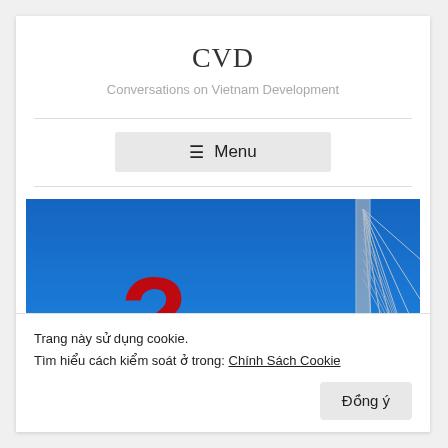CVD
Conversations on Vietnam Development
≡  Menu
[Figure (photo): A blue sky with a cable-stayed bridge structure visible on the right side, and a large red question mark overlaid on the left side of the image.]
Trang này sử dụng cookie.
Tìm hiểu cách kiểm soát ở trong: Chính Sách Cookie
Đồng ý
officials against spiritual